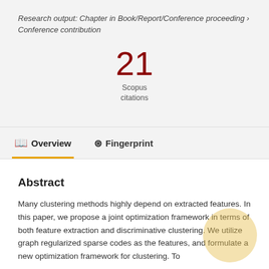Research output: Chapter in Book/Report/Conference proceeding › Conference contribution
21 Scopus citations
Overview   Fingerprint
Abstract
Many clustering methods highly depend on extracted features. In this paper, we propose a joint optimization framework in terms of both feature extraction and discriminative clustering. We utilize graph regularized sparse codes as the features, and formulate a new optimization framework for clustering. To